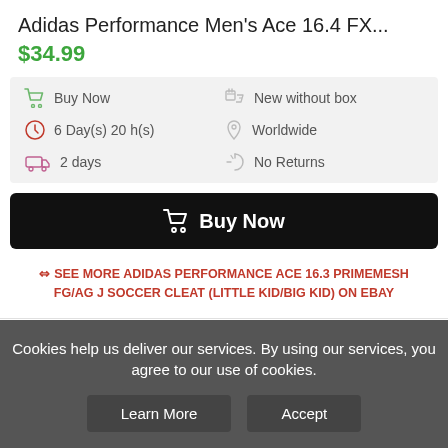Adidas Performance Men's Ace 16.4 FX...
$34.99
Buy Now | 6 Day(s) 20 h(s) | 2 days | New without box | Worldwide | No Returns
Buy Now
SEE MORE ADIDAS PERFORMANCE ACE 16.3 PRIMEMESH FG/AG J SOCCER CLEAT (LITTLE KID/BIG KID) ON EBAY
Browse Categories
Soccer Balls (6)
Cookies help us deliver our services. By using our services, you agree to our use of cookies.